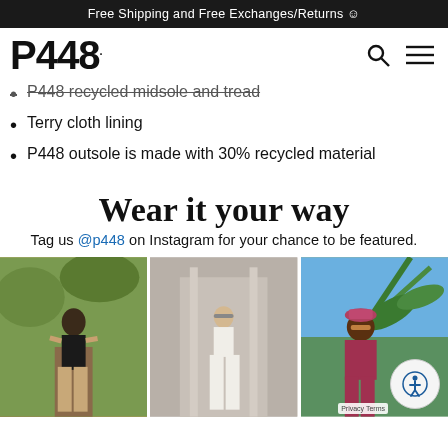Free Shipping and Free Exchanges/Returns ☺
[Figure (logo): P448 brand logo with search and menu icons]
P448 recycled midsole and tread (strikethrough)
Terry cloth lining
P448 outsole is made with 30% recycled material
Wear it your way
Tag us @p448 on Instagram for your chance to be featured.
[Figure (photo): Three Instagram lifestyle photos showing people wearing P448 shoes]